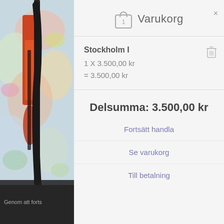[Figure (photo): Abstract oil painting with bold black vertical strokes, red and orange areas, and colorful background in pastel tones. Shown in a narrow left-panel column, partially overlaid with a dark bar at the bottom.]
Varukorg
Stockholm I
1 X 3.500,00 kr
= 3.500,00 kr
Delsumma: 3.500,00 kr
Fortsätt handla
Se varukorg
Till betalning
Genom att forts